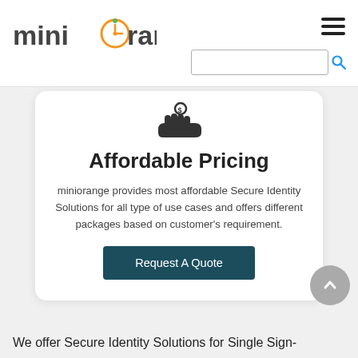miniorange
[Figure (logo): miniOrange logo with orange circle icon in the letter O]
[Figure (infographic): Hand with money/coins icon representing affordable pricing]
Affordable Pricing
miniorange provides most affordable Secure Identity Solutions for all type of use cases and offers different packages based on customer's requirement.
Request A Quote
We offer Secure Identity Solutions for Single Sign-